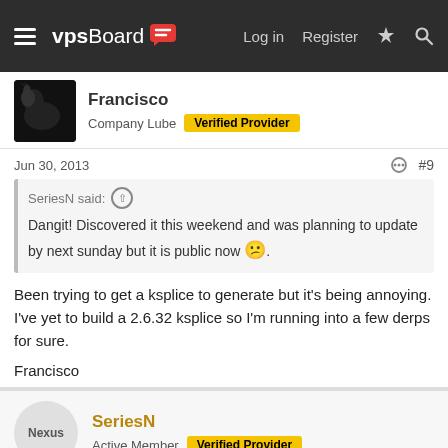vpsBoard — Log in | Register
Francisco
Company Lube  Verified Provider
Jun 30, 2013  #9
SeriesN said: ↑
Dangit! Discovered it this weekend and was planning to update by next sunday but it is public now 😕.
Been trying to get a ksplice to generate but it's being annoying. I've yet to build a 2.6.32 ksplice so I'm running into a few derps for sure.
Francisco
SeriesN
Active Member  Verified Provider